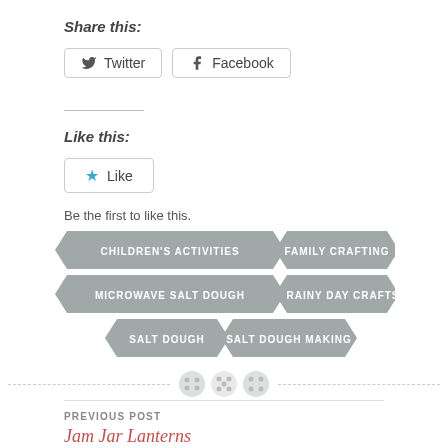Share this:
Twitter   Facebook
Like this:
Like
Be the first to like this.
CHILDREN'S ACTIVITIES
FAMILY CRAFTING
MICROWAVE SALT DOUGH
RAINY DAY CRAFTS
SALT DOUGH
SALT DOUGH MAKING
PREVIOUS POST
Jam Jar Lanterns